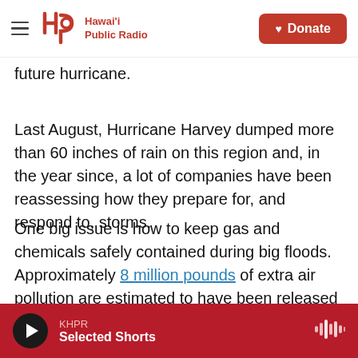Hawai'i Public Radio — Donate
future hurricane.
Last August, Hurricane Harvey dumped more than 60 inches of rain on this region and, in the year since, a lot of companies have been reassessing how they prepare for, and respond to, storms.
One big issue is how to keep gas and chemicals safely contained during big floods. Approximately 8 million pounds of extra air pollution are estimated to have been released as a result of Harvey, according to an analysis of public records that the companies themselves reported.
KHPR — Selected Shorts